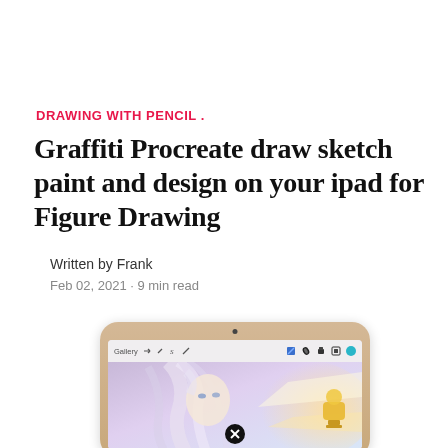DRAWING WITH PENCIL .
Graffiti Procreate draw sketch paint and design on your ipad for Figure Drawing
Written by Frank
Feb 02, 2021 · 9 min read
[Figure (screenshot): iPad device showing the Procreate drawing app interface with anime-style artwork of a female character with white hair, a toolbar at the top showing Gallery and tool icons, and an X/close button overlay in the center. A golden trophy figure is visible on the right side of the screen.]